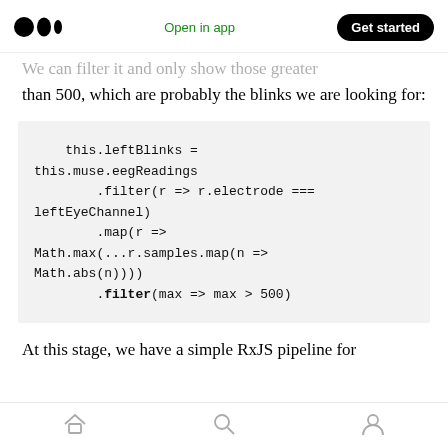Open in app | Get started
…than 500, which are probably the blinks we are looking for:
this.leftBlinks =
this.muse.eegReadings
        .filter(r => r.electrode ===
leftEyeChannel)
        .map(r =>
Math.max(...r.samples.map(n =>
Math.abs(n))))
        .filter(max => max > 500)
At this stage, we have a simple RxJS pipeline for
Home | Search | Profile